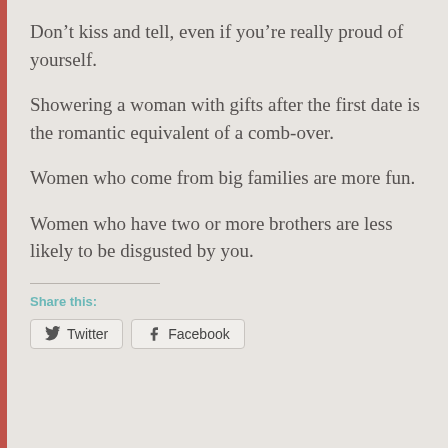Don’t kiss and tell, even if you’re really proud of yourself.
Showering a woman with gifts after the first date is the romantic equivalent of a comb-over.
Women who come from big families are more fun.
Women who have two or more brothers are less likely to be disgusted by you.
Share this:
Twitter  Facebook